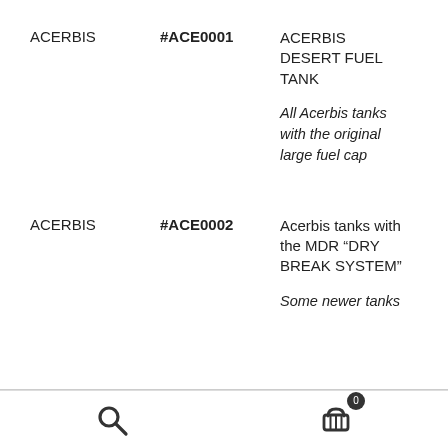ACERBIS
#ACE0001
ACERBIS DESERT FUEL TANK
All Acerbis tanks with the original large fuel cap
ACERBIS
#ACE0002
Acerbis tanks with the MDR “DRY BREAK SYSTEM”
Some newer tanks